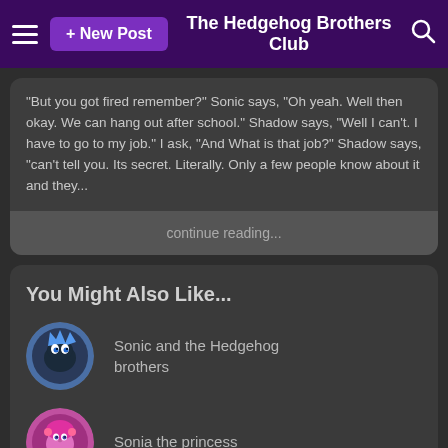+ New Post | The Hedgehog Brothers Club
"But you got fired remember?" Sonic says, "Oh yeah. Well then okay. We can hang out after school." Shadow says, "Well I can't. I have to go to my job." I ask, "And What is that job?" Shadow says, "can't tell you. Its secret. Literally. Only a few people know about it and they...
continue reading...
You Might Also Like...
Sonic and the Hedgehog brothers
Sonia the princess
H2O: Bella